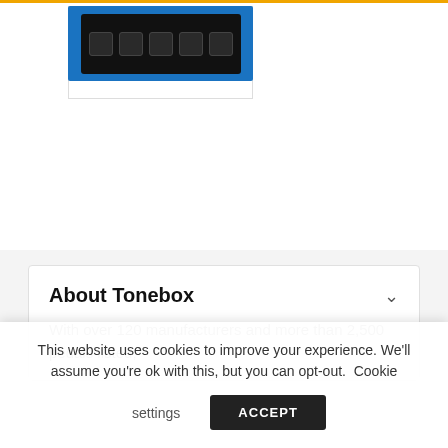[Figure (photo): A BOSS guitar effects pedal shown from above, with black knobs on a blue unit, partially cropped at top of page.]
About Tonebox
With over 120 manufacturers and more than 2,500 pedals listed,
This website uses cookies to improve your experience. We'll assume you're ok with this, but you can opt-out. Cookie settings  ACCEPT